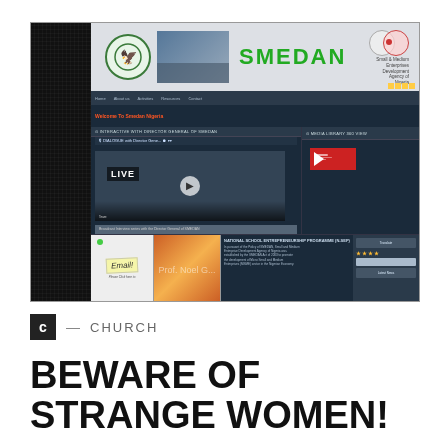[Figure (screenshot): Screenshot of the SMEDAN (Small and Medium Enterprises Development Agency of Nigeria) website homepage, showing the agency's banner with logo, navigation bar, a live video section, news sections, email section, and article content.]
C — CHURCH
BEWARE OF STRANGE WOMEN!